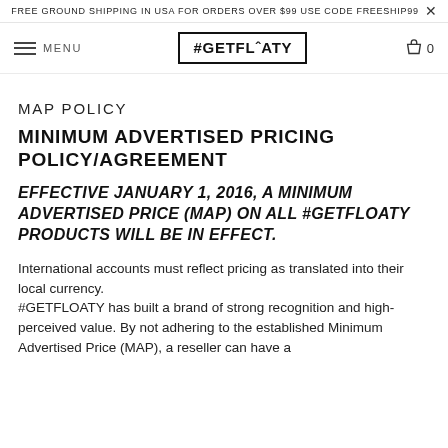FREE GROUND SHIPPING IN USA FOR ORDERS OVER $99 USE CODE FREESHIP99
[Figure (screenshot): Navigation bar with hamburger menu icon labeled MENU, center logo #GETFLOATY in bordered box, and cart icon with 0 count on the right]
MAP POLICY
MINIMUM ADVERTISED PRICING POLICY/AGREEMENT
EFFECTIVE JANUARY 1, 2016, A MINIMUM ADVERTISED PRICE (MAP) ON ALL #GETFLOATY PRODUCTS WILL BE IN EFFECT.
International accounts must reflect pricing as translated into their local currency.
#GETFLOATY has built a brand of strong recognition and high-perceived value. By not adhering to the established Minimum Advertised Price (MAP), a reseller can have a